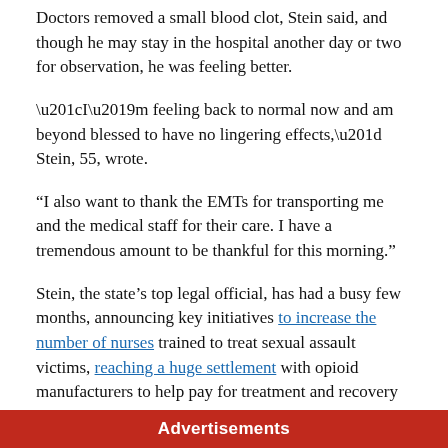Doctors removed a small blood clot, Stein said, and though he may stay in the hospital another day or two for observation, he was feeling better.
“I’m feeling back to normal now and am beyond blessed to have no lingering effects,” Stein, 55, wrote.
“I also want to thank the EMTs for transporting me and the medical staff for their care. I have a tremendous amount to be thankful for this morning.”
Stein, the state’s top legal official, has had a busy few months, announcing key initiatives to increase the number of nurses trained to treat sexual assault victims, reaching a huge settlement with opioid manufacturers to help pay for treatment and recovery of those with addictions, and launching an effort to hold companies responsible for illegal robo calls.
Advertisements